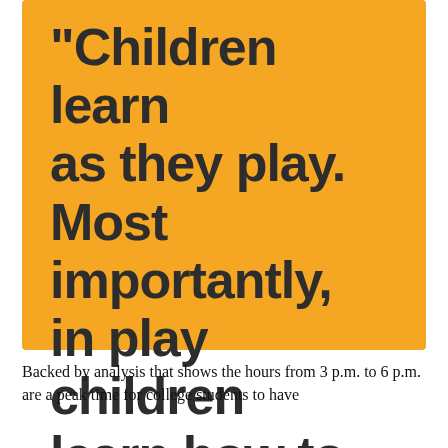[Figure (infographic): Orange background infographic with a quote by O. Fred Donaldson: 'Children learn as they play. Most importantly, in play children learn how to learn.' with attribution and LearningStationMusic.com website.]
Backed by analysis that shows the hours from 3 p.m. to 6 p.m. are a peak time for college students to have